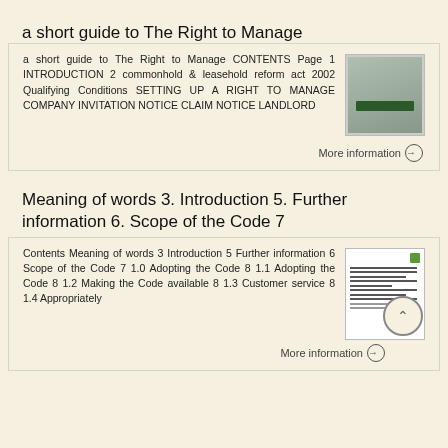a short guide to The Right to Manage
a short guide to The Right to Manage CONTENTS Page 1 INTRODUCTION 2 commonhold & leasehold reform act 2002 Qualifying Conditions SETTING UP A RIGHT TO MANAGE COMPANY INVITATION NOTICE CLAIM NOTICE LANDLORD
[Figure (photo): Thumbnail image of document cover for 'a short guide to The Right to Manage']
More information →
Meaning of words 3. Introduction 5. Further information 6. Scope of the Code 7
Contents Meaning of words 3 Introduction 5 Further information 6 Scope of the Code 7 1.0 Adopting the Code 8 1.1 Adopting the Code 8 1.2 Making the Code available 8 1.3 Customer service 8 1.4 Appropriately
[Figure (photo): Thumbnail image of document with green logo, showing table of contents]
More information →